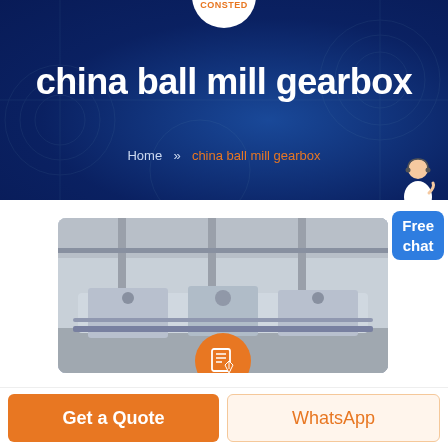CONSTED
china ball mill gearbox
Home >> china ball mill gearbox
[Figure (photo): Industrial factory floor showing large ball mill gearbox machinery in a warehouse setting]
Get a Quote
WhatsApp